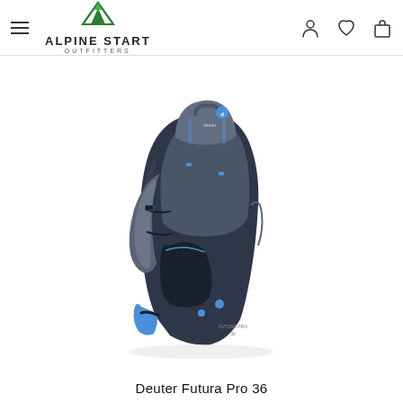Alpine Start Outfitters — navigation header with hamburger menu, logo, and icons
[Figure (photo): Deuter Futura Pro 36 hiking backpack in graphite/black colorway with blue accents, shown from a 3/4 front-side angle on a white background]
Deuter Futura Pro 36